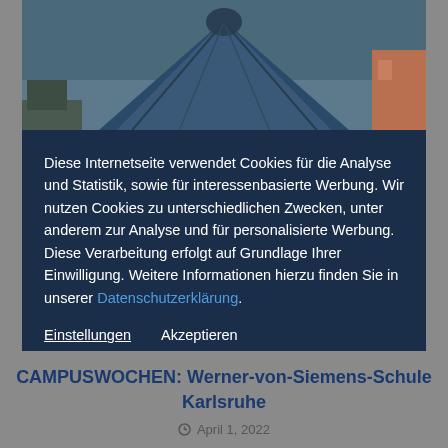[Figure (photo): Photo of a blue tent/pavilion structure outdoors with buildings visible in background. Watermark 'COBIZI' in bottom right corner.]
Diese Internetseite verwendet Cookies für die Analyse und Statistik, sowie für interessenbasierte Werbung. Wir nutzen Cookies zu unterschiedlichen Zwecken, unter anderem zur Analyse und für personalisierte Werbung. Diese Verarbeitung erfolgt auf Grundlage Ihrer Einwilligung. Weitere Informationen hierzu finden Sie in unserer Datenschutzerklärung.
Einstellungen   Akzeptieren
CAMPUSWOCHEN: Werner-von-Siemens-Schule Karlsruhe
April 1, 2022